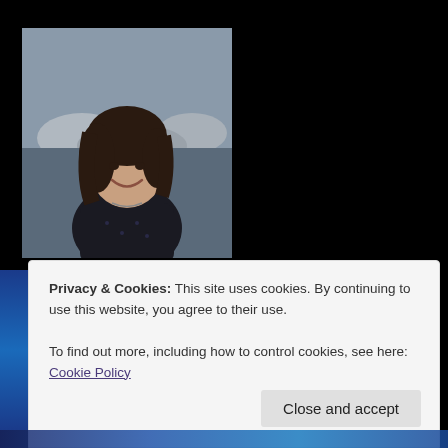[Figure (photo): Portrait photo of a young woman with dark hair, smiling, wearing a dark patterned top, with an outdoor background (rocks/stones visible)]
Writing is a journey that can take you to any place in this world or beyond. You are only limited by your imagination.
OUT NOW!
Privacy & Cookies: This site uses cookies. By continuing to use this website, you agree to their use.
To find out more, including how to control cookies, see here: Cookie Policy
Close and accept